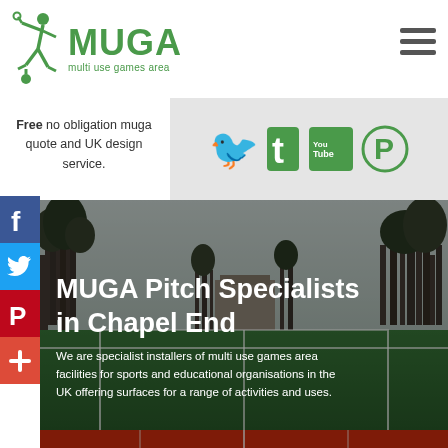[Figure (logo): MUGA multi use games area logo with green running figure icon and large green MUGA text with subtitle 'multi use games area']
[Figure (infographic): Hamburger menu icon (three horizontal lines) in dark grey]
Free no obligation muga quote and UK design service.
[Figure (infographic): Social media icons bar: Twitter bird, Tumblr t, YouTube logo, Pinterest logo in green on grey background]
[Figure (infographic): Side social sharing buttons: Facebook (blue f), Twitter (blue bird), Pinterest (red P), Share plus (red +)]
[Figure (photo): Aerial/wide photo of a MUGA (multi use games area) sports pitch with red and green surfaces, white lines, surrounded by bare winter trees]
MUGA Pitch Specialists in Chapel End
We are specialist installers of multi use games area facilities for sports and educational organisations in the UK offering surfaces for a range of activities and uses.